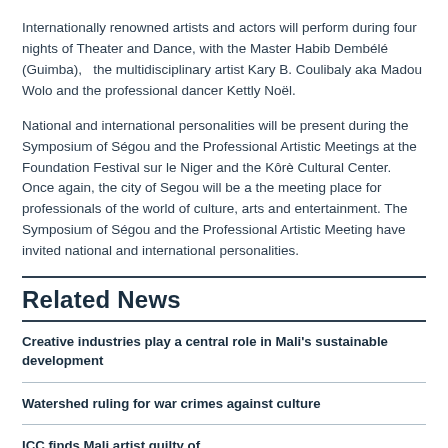Internationally renowned artists and actors will perform during four nights of Theater and Dance, with the Master Habib Dembélé (Guimba),  the multidisciplinary artist Kary B. Coulibaly aka Madou Wolo and the professional dancer Kettly Noël.
National and international personalities will be present during the Symposium of Ségou and the Professional Artistic Meetings at the Foundation Festival sur le Niger and the Kôrè Cultural Center. Once again, the city of Segou will be a the meeting place for professionals of the world of culture, arts and entertainment. The Symposium of Ségou and the Professional Artistic Meeting have invited national and international personalities.
Related News
Creative industries play a central role in Mali's sustainable development
Watershed ruling for war crimes against culture
ICC finds Mali artist guilty of...